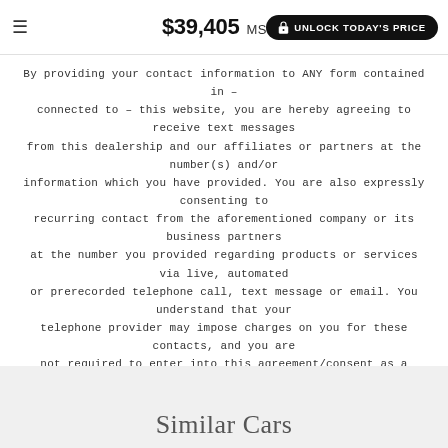$39,405 MSRP  UNLOCK TODAY'S PRICE
By providing your contact information to ANY form contained in – or connected to – this website, you are hereby agreeing to receive text messages from this dealership and our affiliates or partners at the number(s) and/or information which you have provided. You are also expressly consenting to recurring contact from the aforementioned company or its business partners at the number you provided regarding products or services via live, automated or prerecorded telephone call, text message or email. You understand that your telephone provider may impose charges on you for these contacts, and you are not required to enter into this agreement/consent as a condition of purchasing property, goods, or services. You also understand that you may revoke this consent at any time by notifying the dealership in writing.
For In Transit Inventory, any date of arrival is estimated. The actual date of delivery may vary due to circumstances beyond Hyundai and the dealer's control. Please contact your local Hyundai dealer for availability details.
Similar Cars